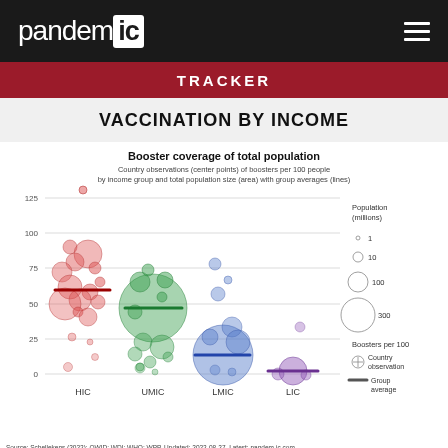pandemic ic | TRACKER
VACCINATION BY INCOME
[Figure (bubble-chart): Bubble chart showing country observations (center points) of boosters per 100 people by income group (HIC, UMIC, LMIC, LIC) and total population size (area) with group averages (lines). Y-axis: 0-125+. Four income groups shown in different colors: HIC (red/pink), UMIC (green), LMIC (blue), LIC (purple). Legend shows population in millions (1, 10, 100, 300) and Boosters per 100 symbols.]
Source: Schellekens (2022); OWID; WDI; WHO; WPP. Updated: 2022-08-27. Latest: pandem-ic.com. Note: Acronyms: high (HIC), upper-middle (UMIC), lower-middle (LMIC) & low income (LIC) countries.